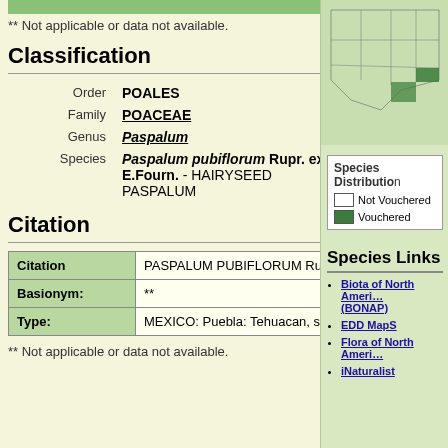** Not applicable or data not available.
Classification
|  |  |
| --- | --- |
| Order | POALES |
| Family | POACEAE |
| Genus | Paspalum |
| Species | Paspalum pubiflorum Rupr. ex E.Fourn. - HAIRYSEED PASPALUM |
Citation
| Citation | PASPALUM PUBIFLORUM Ruprecht ex E. Fournier, Mexic. Pl. 2: 11. 1886. |
| --- | --- |
| Basionym: | ** |
| Type: | MEXICO: Puebla: Tehuacan, s.d., Galeotti 5747 (holotype: BR; isotype: US(fragm)). |
** Not applicable or data not available.
[Figure (map): Species distribution map showing states in the US and Mexico, with green shaded areas indicating vouchered occurrences.]
Species Distribution
Not Vouchered
Vouchered
Species Links
Biota of North America (BONAP)
EDD MapS
Flora of North Ameri
iNaturalist